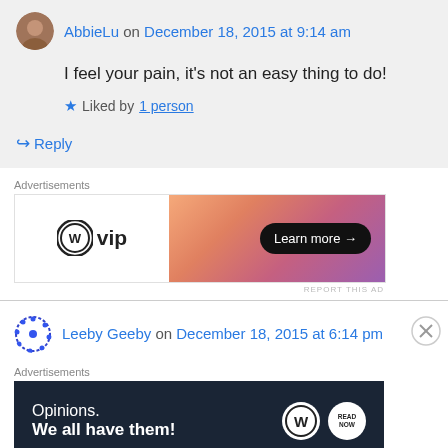AbbieLu on December 18, 2015 at 9:14 am
I feel your pain, it's not an easy thing to do!
Liked by 1 person
Reply
Advertisements
[Figure (infographic): WordPress VIP advertisement banner with gradient orange-pink-purple background and 'Learn more' button]
REPORT THIS AD
Leeby Geeby on December 18, 2015 at 6:14 pm
Advertisements
[Figure (infographic): WordPress advertisement with dark background, text 'Opinions. We all have them!' and WordPress logo with Read Now badge]